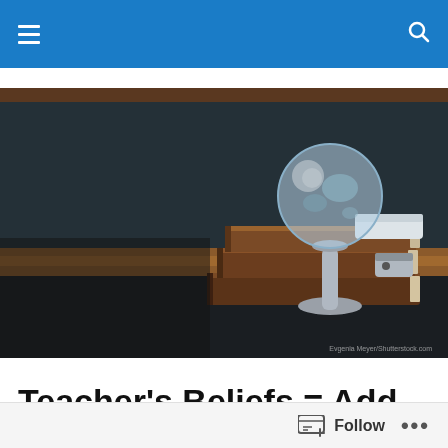[Figure (photo): A stack of old brown books on a dark background with a glass globe on a metal stand on top, an eraser and pencil sharpener also visible. Educational/teacher theme.]
Teacher's Beliefs = Add constructivism to learning